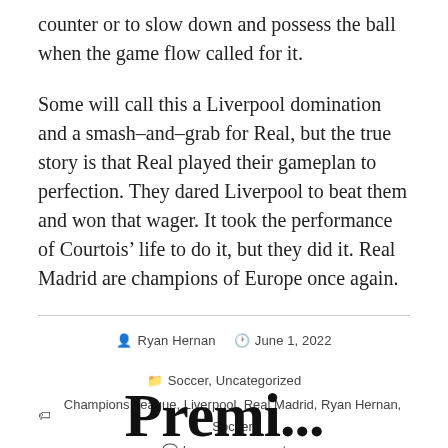counter or to slow down and possess the ball when the game flow called for it.
Some will call this a Liverpool domination and a smash-and-grab for Real, but the true story is that Real played their gameplan to perfection. They dared Liverpool to beat them and won that wager. It took the performance of Courtois’ life to do it, but they did it. Real Madrid are champions of Europe once again.
By Ryan Hernan  ○ June 1, 2022  ▤ Soccer, Uncategorized
🏷 Champions League, Liverpool, Real Madrid, Ryan Hernan, Soccer
🗨 Leave a comment
Premi...